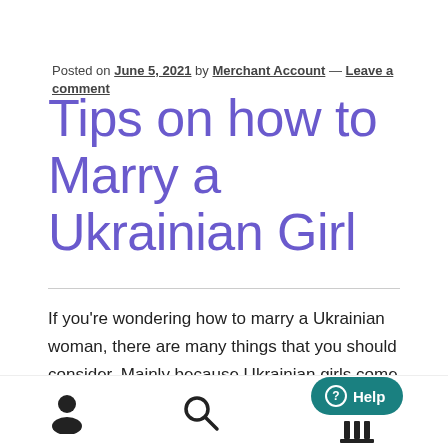Posted on June 5, 2021 by Merchant Account — Leave a comment
Tips on how to Marry a Ukrainian Girl
If you're wondering how to marry a Ukrainian woman, there are many things that you should consider. Mainly because Ukrainian girls come from incredibly conservative families, you'll need to be patient with them. May make bluff comments or perhaps act like you don't care, and you will likely have a hard time getting them to marry…